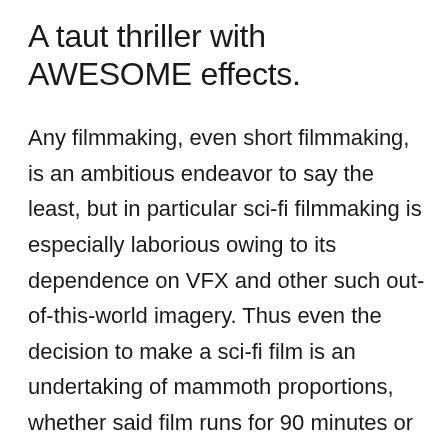A taut thriller with AWESOME effects.
Any filmmaking, even short filmmaking, is an ambitious endeavor to say the least, but in particular sci-fi filmmaking is especially laborious owing to its dependence on VFX and other such out-of-this-world imagery. Thus even the decision to make a sci-fi film is an undertaking of mammoth proportions, whether said film runs for 90 minutes or nine. But when done right and done well, a good sci-fi film reaches beyond the parameters of its genre. Think Alien, The Martian, District 9, 2001, Solaris, or Star Wars, all of which are thought of as being far more than